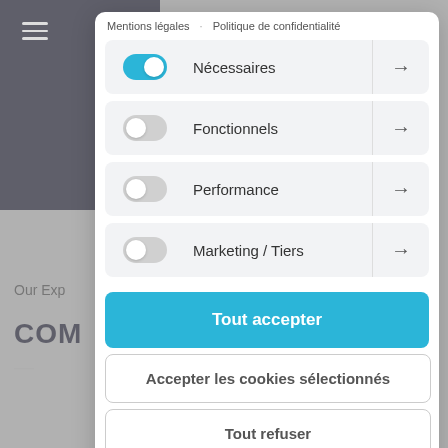[Figure (screenshot): Cookie consent modal overlay on a website. Shows navigation links 'Mentions légales' and 'Politique de confidentialité' at top. Four cookie category rows with toggles: Nécessaires (on/blue), Fonctionnels (off/grey), Performance (off/grey), Marketing / Tiers (off/grey), each with an arrow button. Three action buttons at bottom: 'Tout accepter' (blue), 'Accepter les cookies sélectionnés' (white/outlined), 'Tout refuser' (white/outlined). Background shows partial website with hamburger menu, 'Our Exp...' text, 'COM...' heading.]